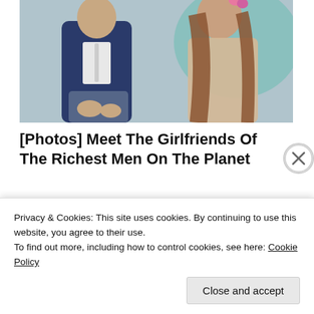[Figure (photo): Photo of a man in a navy suit and a woman with a flower in her hair, sitting together]
[Photos] Meet The Girlfriends Of The Richest Men On The Planet
Bon Voyaged
[Figure (photo): Close-up photo of blue diamond-shaped pills labeled VGR 100 and VGR 25 on a person's hand]
Privacy & Cookies: This site uses cookies. By continuing to use this website, you agree to their use.
To find out more, including how to control cookies, see here: Cookie Policy
Close and accept